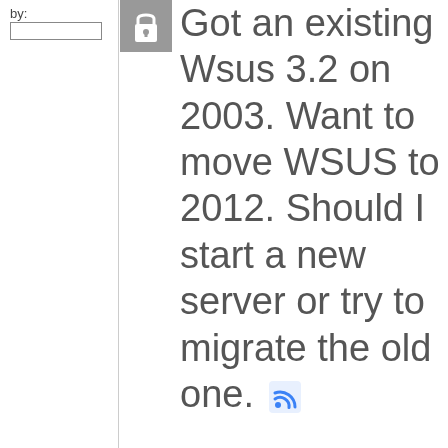by:
[Figure (other): Gray lock/padlock icon square]
Got an existing Wsus 3.2 on 2003. Want to move WSUS to 2012. Should I start a new server or try to migrate the old one.